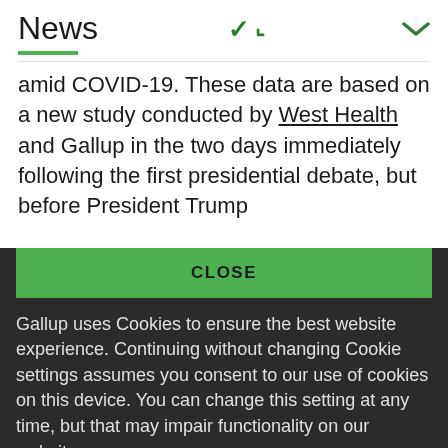News
amid COVID-19. These data are based on a new study conducted by West Health and Gallup in the two days immediately following the first presidential debate, but before President Trump
CLOSE
Gallup uses Cookies to ensure the best website experience. Continuing without changing Cookie settings assumes you consent to our use of cookies on this device. You can change this setting at any time, but that may impair functionality on our websites.
Privacy Statement   Site Terms of Use and Sale
Product Terms of Use   Adjust your cookie settings.